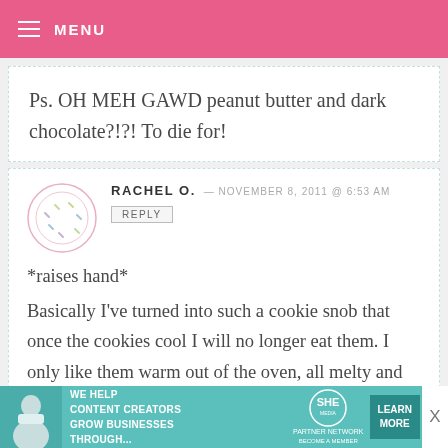MENU
Ps. OH MEH GAWD peanut butter and dark chocolate?!?! To die for!
RACHEL O. — NOVEMBER 8, 2011 @ 6:53 AM
REPLY
*raises hand*
Basically I've turned into such a cookie snob that once the cookies cool I will no longer eat them. I only like them warm out of the oven, all melty and
[Figure (infographic): SHE Partner Network advertisement banner with woman photo, text 'WE HELP CONTENT CREATORS GROW BUSINESSES THROUGH...', SHE logo, and LEARN MORE button]